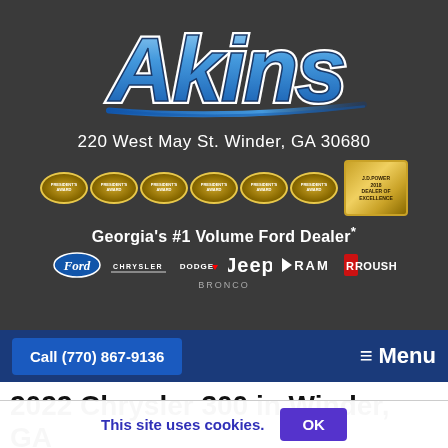[Figure (logo): Akins dealership logo in blue cursive script with white outline on dark gray background]
220 West May St. Winder, GA 30680
[Figure (other): Six President's Award oval badges and a JD Power 2018 Dealer of Excellence badge]
Georgia's #1 Volume Ford Dealer*
[Figure (logo): Brand logos: Ford, Chrysler, Dodge, Jeep, Ram, Roush, Bronco]
Call (770) 867-9136
≡ Menu
2022 Chrysler 300 in Winder, GA
This site uses cookies.
OK